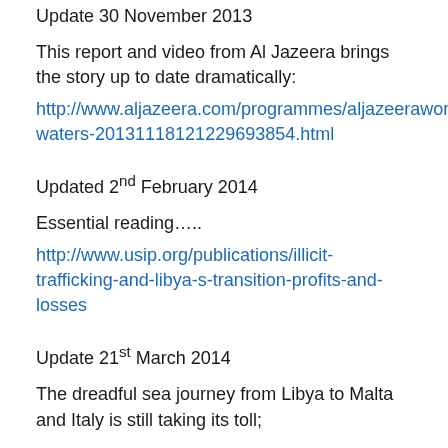Update 30 November 2013
This report and video from Al Jazeera brings the story up to date dramatically:
http://www.aljazeera.com/programmes/aljazeeraworld/2013/11/dangerous-waters-20131118121229693854.html
Updated 2nd February 2014
Essential reading…..
http://www.usip.org/publications/illicit-trafficking-and-libya-s-transition-profits-and-losses
Update 21st March 2014
The dreadful sea journey from Libya to Malta and Italy is still taking its toll;
http://www.aawsat.net/2014/03/article55330299